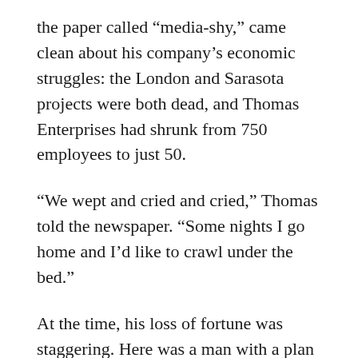the paper called “media-shy,” came clean about his company’s economic struggles: the London and Sarasota projects were both dead, and Thomas Enterprises had shrunk from 750 employees to just 50.
“We wept and cried and cried,” Thomas told the newspaper. “Some nights I go home and I’d like to crawl under the bed.”
At the time, his loss of fortune was staggering. Here was a man with a plan for five “mini cities,” and by some reports, he controlled more than 20,000 acres of developable land across the country. He had even survived two scandals. Thomas was a major donor to Gov. Sonny Perdue’s gubernatorial campaign, and